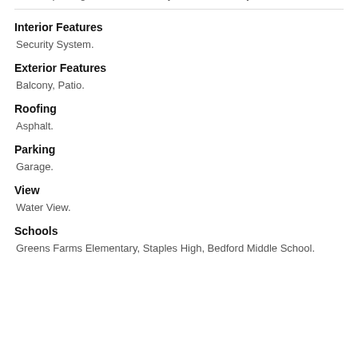Cook Top Range, Dishwasher, Dryer, Washer & Dryer.
Interior Features
Security System.
Exterior Features
Balcony, Patio.
Roofing
Asphalt.
Parking
Garage.
View
Water View.
Schools
Greens Farms Elementary, Staples High, Bedford Middle School.